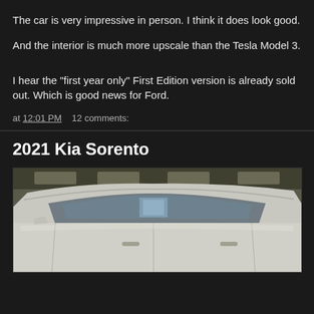The car is very impressive in person. I think it does look good.
And the interior is much more upscale than the Tesla Model 3.
I hear the "first year only" First Edition version is already sold out. Which is good news for Ford.
at 12:01 PM   12 comments:
2021 Kia Sorento
[Figure (photo): Photo of a white Kia Sorento SUV shot from above/rear angle, parked in what appears to be a parking garage or dealership]